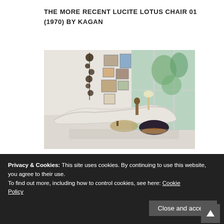THE MORE RECENT LUCITE LOTUS CHAIR 01 (1970) BY KAGAN
[Figure (photo): Modern living room with a curved white serpentine sofa, a dark ottoman, round coffee table, wall art gallery, and large floor-to-ceiling windows with palm trees outside.]
SOME MORE SERPENTINES IN THIS MID
Privacy & Cookies: This site uses cookies. By continuing to use this website, you agree to their use.
To find out more, including how to control cookies, see here: Cookie Policy
Close and accept